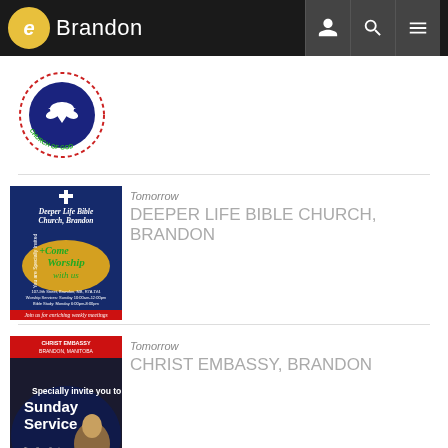eBrandon
[Figure (logo): Redeemed Christian Church of God circular logo with white dove on dark blue background and red/green circular text border]
Tomorrow
DEEPER LIFE BIBLE CHURCH, BRANDON
[Figure (illustration): Deeper Life Bible Church, Brandon event poster - blue background with 'Come Worship with Us' text, church address and service times]
Tomorrow
CHRIST EMBASSY, BRANDON
[Figure (illustration): Christ Embassy Brandon Manitoba Sunday Service promotional image with speaker photo]